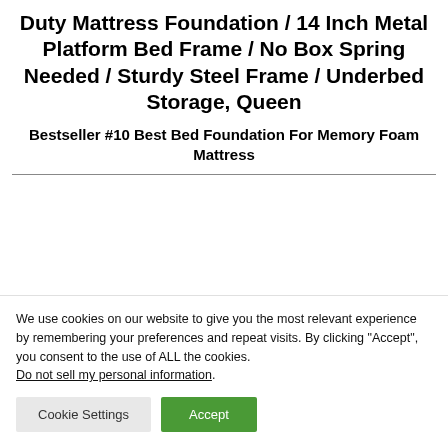Duty Mattress Foundation / 14 Inch Metal Platform Bed Frame / No Box Spring Needed / Sturdy Steel Frame / Underbed Storage, Queen
Bestseller #10 Best Bed Foundation For Memory Foam Mattress
We use cookies on our website to give you the most relevant experience by remembering your preferences and repeat visits. By clicking “Accept”, you consent to the use of ALL the cookies. Do not sell my personal information.